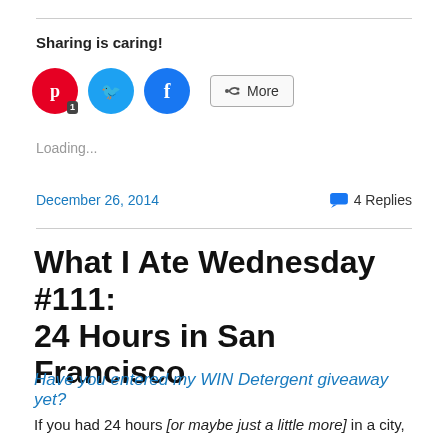Sharing is caring!
[Figure (infographic): Social sharing buttons: Pinterest (with badge showing 1), Twitter, Facebook circles, and a More button]
Loading...
December 26, 2014    💬 4 Replies
What I Ate Wednesday #111: 24 Hours in San Francisco
Have you entered my WIN Detergent giveaway yet?
If you had 24 hours [or maybe just a little more] in a city,